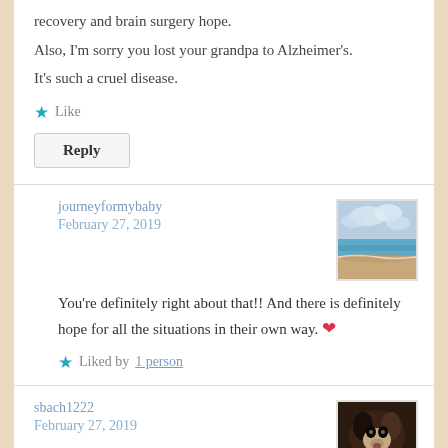recovery and brain surgery hope.
Also, I'm sorry you lost your grandpa to Alzheimer's.
It's such a cruel disease.
★ Like
Reply
journeyformybaby
February 27, 2019
[Figure (photo): Beach scene with ocean, sky and clouds, sandy shore]
You're definitely right about that!! And there is definitely hope for all the situations in their own way. ❤
★ Liked by 1 person
sbach1222
February 27, 2019
[Figure (photo): Dark photo of a dog (appears to be a Boston Terrier or similar breed)]